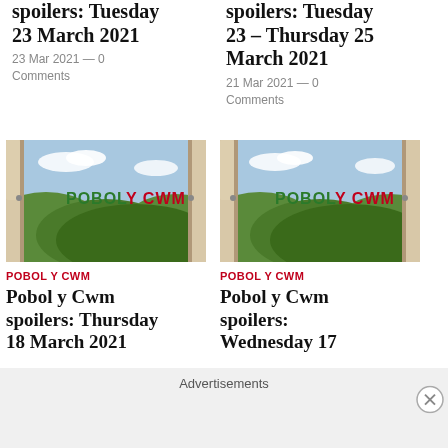spoilers: Tuesday 23 March 2021
23 Mar 2021 — 0 Comments
spoilers: Tuesday 23 – Thursday 25 March 2021
21 Mar 2021 — 0 Comments
[Figure (photo): Pobol y Cwm logo over a landscape with open door, green and red text]
[Figure (photo): Pobol y Cwm logo over a landscape with open door, green and red text]
POBOL Y CWM
Pobol y Cwm spoilers: Thursday 18 March 2021
POBOL Y CWM
Pobol y Cwm spoilers: Wednesday 17
Advertisements